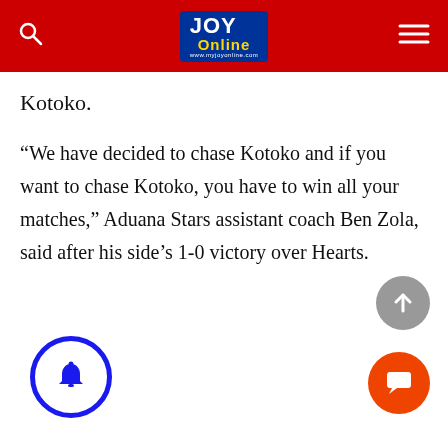JOY Online
Kotoko.
“We have decided to chase Kotoko and if you want to chase Kotoko, you have to win all your matches,” Aduana Stars assistant coach Ben Zola, said after his side’s 1-0 victory over Hearts.
[Figure (other): Scroll-to-top button (grey circle with upward arrow)]
[Figure (other): Chat/comment button (orange-red circle with chat bubble icon)]
[Figure (other): Notification bell button (blue circle outline with bell icon)]